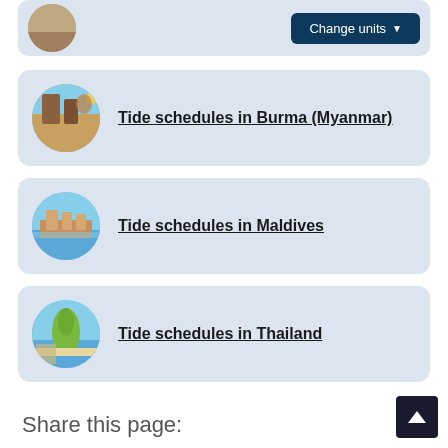[Figure (other): Circular photo thumbnail of a destination with a Change units button to the right]
Tide schedules in Burma (Myanmar)
Tide schedules in Maldives
Tide schedules in Thailand
Share this page: